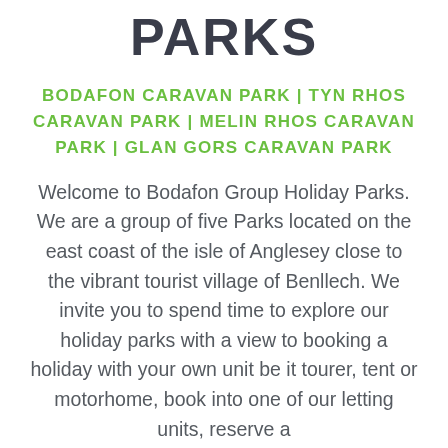PARKS
BODAFON CARAVAN PARK | TYN RHOS CARAVAN PARK | MELIN RHOS CARAVAN PARK | GLAN GORS CARAVAN PARK
Welcome to Bodafon Group Holiday Parks. We are a group of five Parks located on the east coast of the isle of Anglesey close to the vibrant tourist village of Benllech. We invite you to spend time to explore our holiday parks with a view to booking a holiday with your own unit be it tourer, tent or motorhome, book into one of our letting units, reserve a